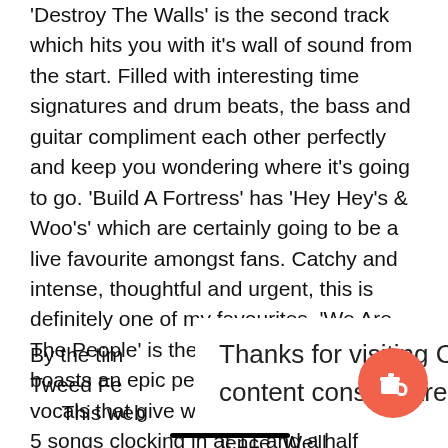'Destroy The Walls' is the second track which hits you with it's wall of sound from the start. Filled with interesting time signatures and drum beats, the bass and guitar compliment each other perfectly and keep you wondering where it's going to go. 'Build A Fortress' has 'Hey Hey's & Woo's' which are certainly going to be a live favourite amongst fans. Catchy and intense, thoughtful and urgent, this is definitely one of my favourites. 'We Are The People' is the final track. A song that boasts an epic performance, choir style vocals that give way for the delicate end. 5 songs clocking in at 11 and a half minutes.
By the tim... ady played Tweed Fe... nd many
Thanks for visiting Chordblossom. If you enjoy our content consider treating us to a coffee.
This web... ience. We'll assume... if y...